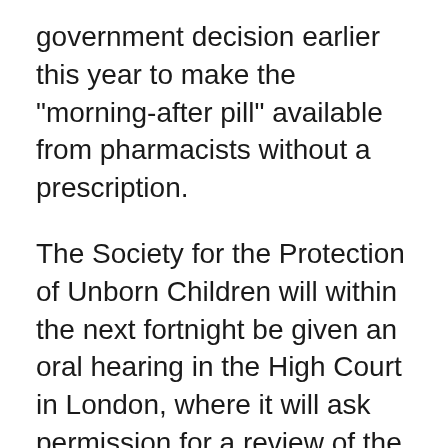government decision earlier this year to make the "morning-after pill" available from pharmacists without a prescription.
The Society for the Protection of Unborn Children will within the next fortnight be given an oral hearing in the High Court in London, where it will ask permission for a review of the reclassification of the Levonelle-2 drug to make it available over-the-counter.
Because the pill "can cause the death of a newly conceived human being" it should be